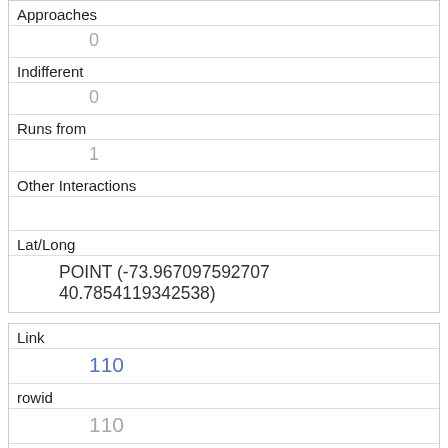| Approaches | 0 |
| Indifferent | 0 |
| Runs from | 1 |
| Other Interactions |  |
| Lat/Long | POINT (-73.967097592707 40.7854119342538) |
| Link | 110 |
| rowid | 110 |
| longitude | -73.97113187902791 |
| latitude | 40.7701941550273 |
| Unique Squirrel ID | 7G-AM-1010-02 |